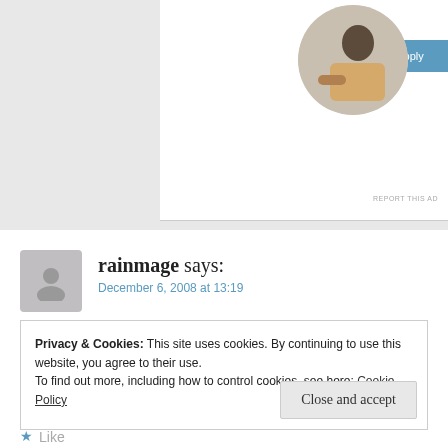[Figure (screenshot): Advertisement banner with 'Apply' button and circular photo of a man thinking at a desk]
rainmage says:
December 6, 2008 at 13:19
YES!
Privacy & Cookies: This site uses cookies. By continuing to use this website, you agree to their use. To find out more, including how to control cookies, see here: Cookie Policy
Close and accept
Like